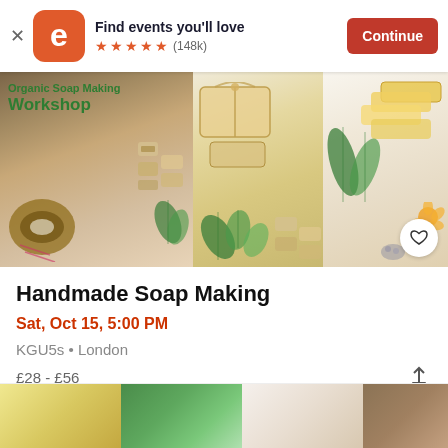[Figure (screenshot): Eventbrite app banner with logo, 'Find events you'll love', 5 star rating (148k reviews), and Continue button]
[Figure (photo): Organic Soap Making Workshop promotional image showing handmade soaps, botanicals, and wrapped gifts across three panels]
Handmade Soap Making
Sat, Oct 15, 5:00 PM
KGU5s • London
£28 - £56
[Figure (photo): Bottom preview strip showing additional soap-making event images]